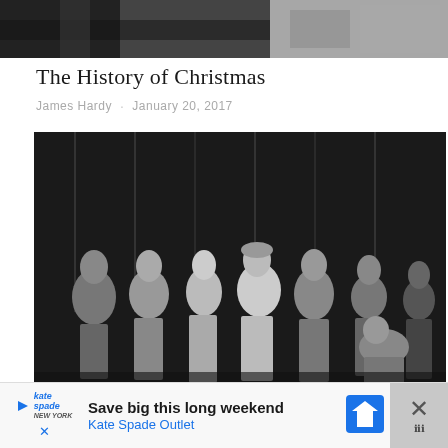[Figure (photo): Top strip of two black and white photos — left side showing dark shadowy figure, right side showing fabric or clothing texture]
The History of Christmas
James Hardy  ·  January 20, 2017
[Figure (photo): Black and white historical photograph showing a group of people in Victorian-era clothing standing together, possibly a theatrical or church scene]
Save big this long weekend
Kate Spade Outlet